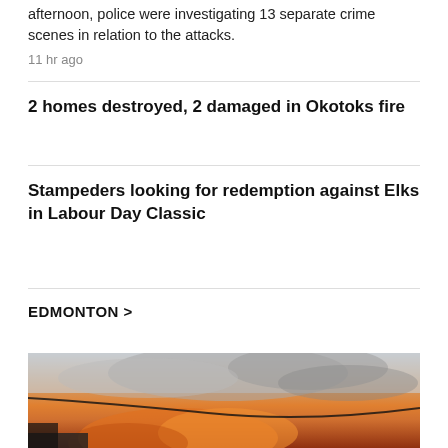afternoon, police were investigating 13 separate crime scenes in relation to the attacks.
11 hr ago
2 homes destroyed, 2 damaged in Okotoks fire
Stampeders looking for redemption against Elks in Labour Day Classic
EDMONTON >
[Figure (photo): Photo of fire/smoke with orange and grey tones, appears to be a building or structure fire with dark smoke clouds]